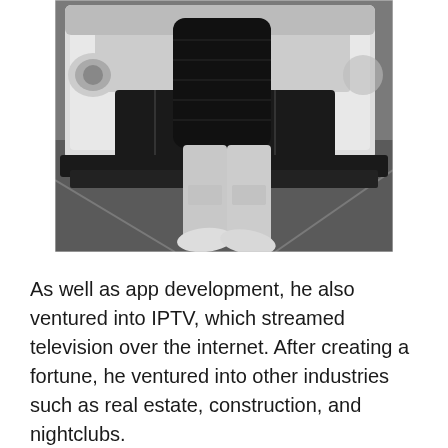[Figure (photo): A person wearing a black puffer jacket and light grey/white pants with white sneakers, standing in front of a white Mercedes-Benz G-Wagon SUV in a parking lot.]
As well as app development, he also ventured into IPTV, which streamed television over the internet. After creating a fortune, he ventured into other industries such as real estate, construction, and nightclubs.